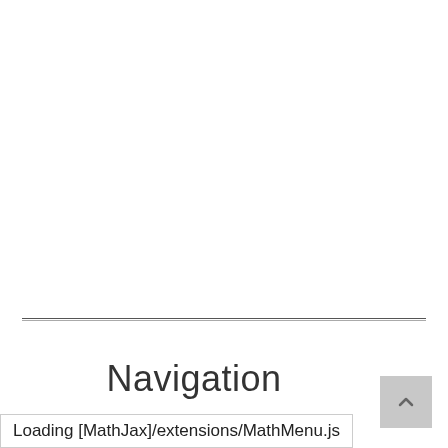Navigation
Loading [MathJax]/extensions/MathMenu.js